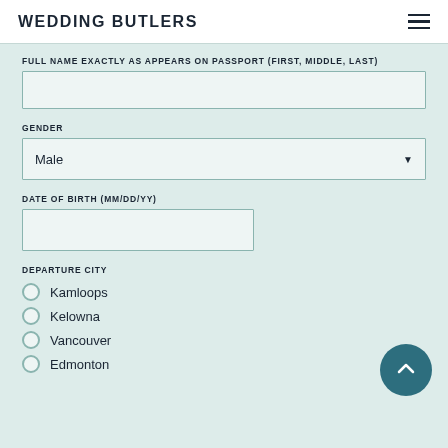WEDDING BUTLERS
FULL NAME EXACTLY AS APPEARS ON PASSPORT (FIRST, MIDDLE, LAST)
GENDER
Male
DATE OF BIRTH (MM/DD/YY)
DEPARTURE CITY
Kamloops
Kelowna
Vancouver
Edmonton